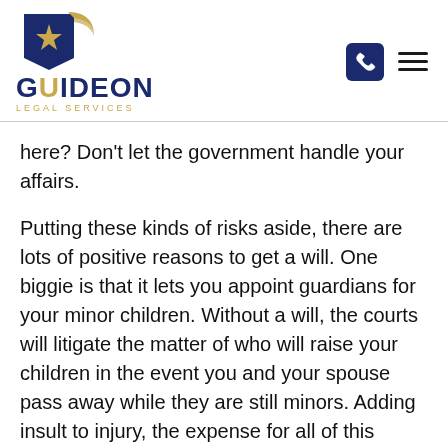[Figure (logo): GuideOn Legal Services logo — navy blue flag/shield icon with gold star, bold navy text 'GUIDEON' and gold uppercase 'LEGAL SERVICES' below]
here? Don't let the government handle your affairs.
Putting these kinds of risks aside, there are lots of positive reasons to get a will.  One biggie is that it lets you appoint guardians for your minor children.  Without a will, the courts will litigate the matter of who will raise your children in the event you and your spouse pass away while they are still minors.  Adding insult to injury, the expense for all of this comes out of your estate, leaving less for